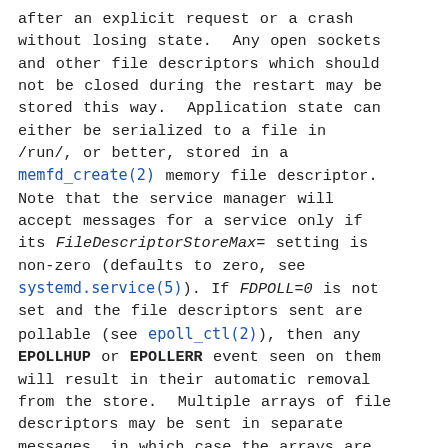after an explicit request or a crash without losing state. Any open sockets and other file descriptors which should not be closed during the restart may be stored this way. Application state can either be serialized to a file in /run/, or better, stored in a memfd_create(2) memory file descriptor. Note that the service manager will accept messages for a service only if its FileDescriptorStoreMax= setting is non-zero (defaults to zero, see systemd.service(5)). If FDPOLL=0 is not set and the file descriptors sent are pollable (see epoll_ctl(2)), then any EPOLLHUP or EPOLLERR event seen on them will result in their automatic removal from the store. Multiple arrays of file descriptors may be sent in separate messages, in which case the arrays are combined. Note that the service manager removes duplicate (pointing to the same object) file descriptors before passing